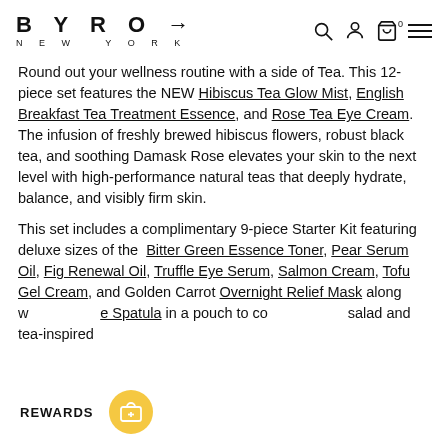BYROE NEW YORK
Round out your wellness routine with a side of Tea. This 12-piece set features the NEW Hibiscus Tea Glow Mist, English Breakfast Tea Treatment Essence, and Rose Tea Eye Cream. The infusion of freshly brewed hibiscus flowers, robust black tea, and soothing Damask Rose elevates your skin to the next level with high-performance natural teas that deeply hydrate, balance, and visibly firm skin.
This set includes a complimentary 9-piece Starter Kit featuring deluxe sizes of the Bitter Green Essence Toner, Pear Serum Oil, Fig Renewal Oil, Truffle Eye Serum, Salmon Cream, Tofu Gel Cream, and Golden Carrot Overnight Relief Mask along w[ith a reusabl]e Spatula in a pouch to co[mplete your ]salad and tea-inspired